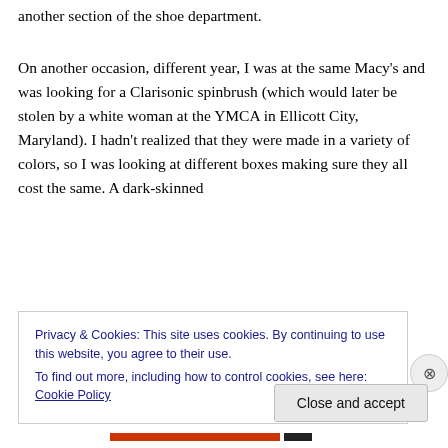another section of the shoe department.
On another occasion, different year, I was at the same Macy's and was looking for a Clarisonic spinbrush (which would later be stolen by a white woman at the YMCA in Ellicott City, Maryland).  I hadn't realized that they were made in a variety of colors, so I was looking at different boxes making sure they all cost the same.  A dark-skinned
Privacy & Cookies: This site uses cookies. By continuing to use this website, you agree to their use.
To find out more, including how to control cookies, see here: Cookie Policy
Close and accept